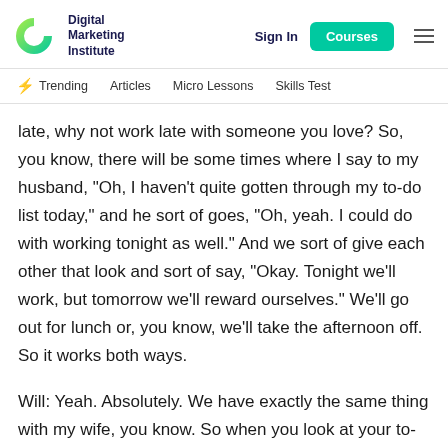Digital Marketing Institute | Sign In | Courses
Trending | Articles | Micro Lessons | Skills Test
late, why not work late with someone you love? So, you know, there will be some times where I say to my husband, "Oh, I haven't quite gotten through my to-do list today," and he sort of goes, "Oh, yeah. I could do with working tonight as well." And we sort of give each other that look and sort of say, "Okay. Tonight we'll work, but tomorrow we'll reward ourselves." We'll go out for lunch or, you know, we'll take the afternoon off. So it works both ways.
Will: Yeah. Absolutely. We have exactly the same thing with my wife, you know. So when you look at your to-do